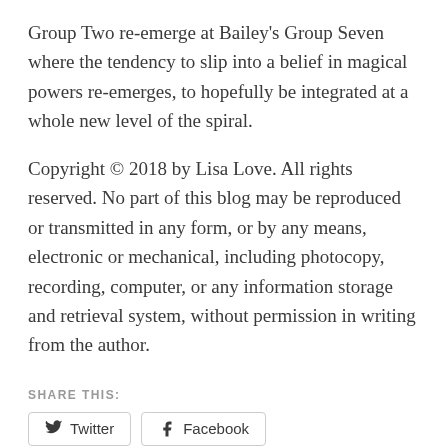Group Two re-emerge at Bailey's Group Seven where the tendency to slip into a belief in magical powers re-emerges, to hopefully be integrated at a whole new level of the spiral.
Copyright © 2018 by Lisa Love. All rights reserved. No part of this blog may be reproduced or transmitted in any form, or by any means, electronic or mechanical, including photocopy, recording, computer, or any information storage and retrieval system, without permission in writing from the author.
SHARE THIS:
[Figure (other): Social sharing buttons for Twitter and Facebook]